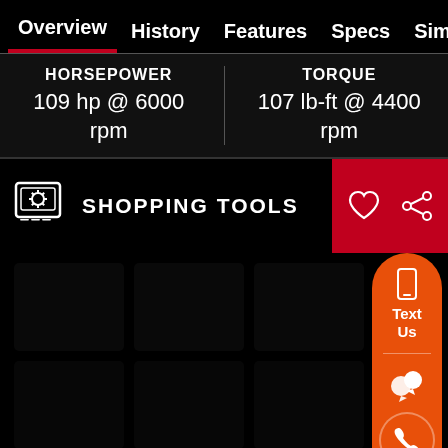Overview | History | Features | Specs | Similar
HORSEPOWER
109 hp @ 6000 rpm
TORQUE
107 lb-ft @ 4400 rpm
SHOPPING TOOLS
[Figure (screenshot): Floating orange widget with Text Us label, chat icon, and phone call button on right side of screen]
[Figure (screenshot): Dark content area with faint background tiles/cards visible]